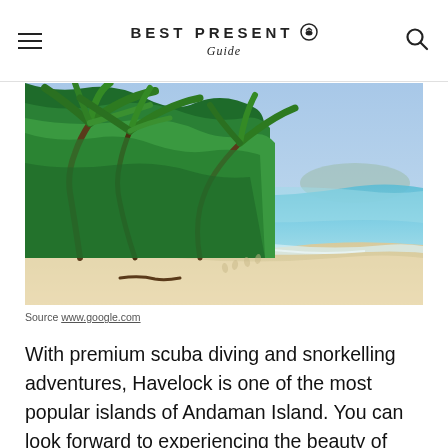BEST PRESENT Guide
[Figure (photo): A tropical beach with white sand, turquoise sea water, and lush green palm trees leaning over the shoreline under a blue sky.]
Source www.google.com
With premium scuba diving and snorkelling adventures, Havelock is one of the most popular islands of Andaman Island. You can look forward to experiencing the beauty of marine life up-close in glass-bottomed boats, jungle